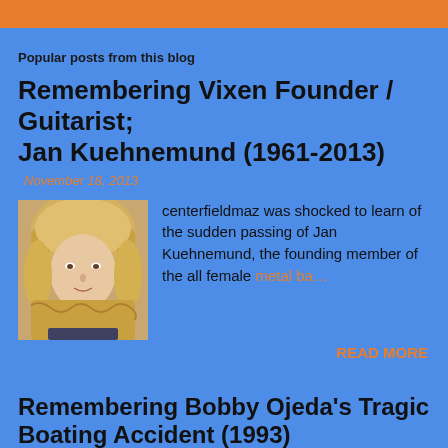Popular posts from this blog
Remembering Vixen Founder / Guitarist; Jan Kuehnemund (1961-2013)
November 18, 2013
[Figure (photo): Photo of Jan Kuehnemund, a woman with long blonde hair]
centerfieldmaz was shocked to learn of the sudden passing of Jan Kuehnemund, the founding member of the all female metal ba…
READ MORE
Remembering Bobby Ojeda's Tragic Boating Accident (1993)
December 16, 2020